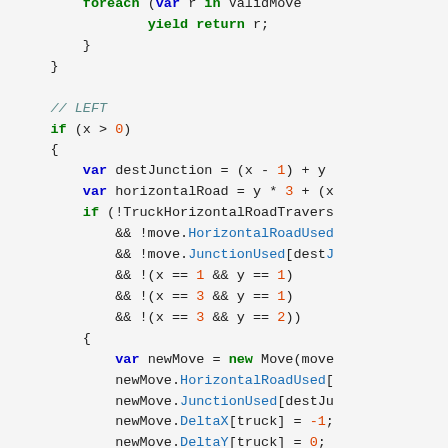[Figure (screenshot): Source code snippet in C# showing a foreach/yield return block, a LEFT comment, an if (x > 0) block with variable declarations and conditional logic checking TruckHorizontalRoadTraversal, HorizontalRoadUsed, JunctionUsed, and coordinate conditions, followed by a block assigning newMove properties (HorizontalRoadUsed, JunctionUsed, DeltaX, DeltaY, TruckUsedHorizontal, TruckUsedVerticalR) and a foreach loop.]